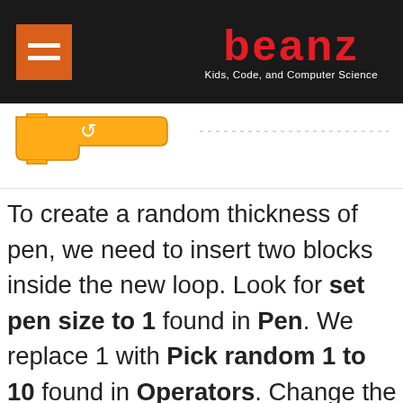beanz — Kids, Code, and Computer Science
[Figure (screenshot): Scratch programming loop block — orange/yellow curved repeat block with a refresh arrow icon]
To create a random thickness of pen, we need to insert two blocks inside the new loop. Look for set pen size to 1 found in Pen. We replace 1 with Pick random 1 to 10 found in Operators. Change the 10 to 4, otherwise the pen will be too thick.